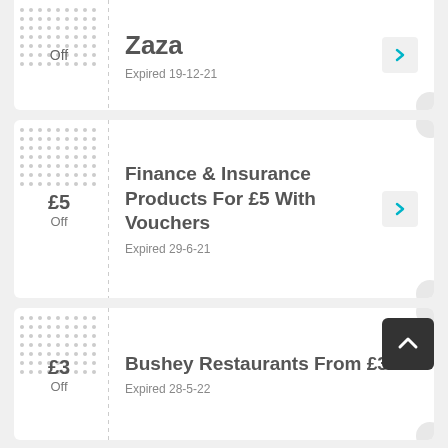Off
Zaza
Expired 19-12-21
£5 Off
Finance & Insurance Products For £5 With Vouchers
Expired 29-6-21
£3 Off
Bushey Restaurants From £3.90
Expired 28-5-22